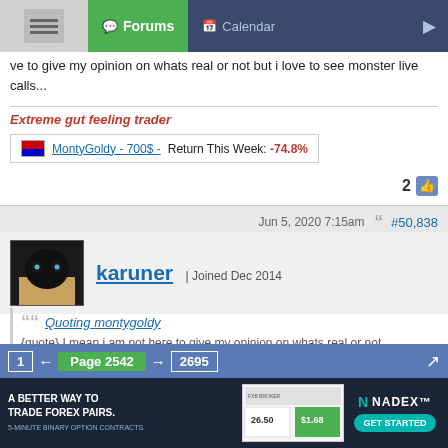Forums | Calendar
ve to give my opinion on whats real or not but i love to see monster live calls...
Extreme gut feeling trader
MontyGoldy - 700$ - Return This Week: -74.8%
2
Jun 5, 2020 7:15am   #50,838
karuner | Joined Dec 2014
Quoting montygoldy
{quote} I mean i am not here to give my opinion on whats real or not
that is the point
Quote
1 ← Page 2542 → 2695